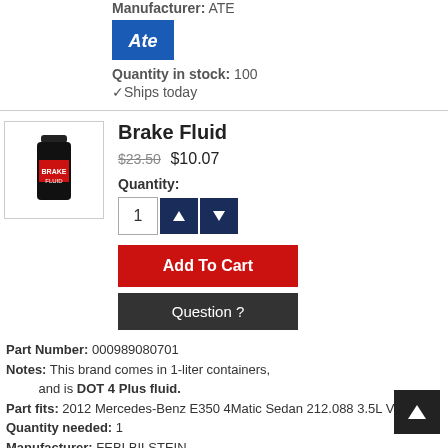Manufacturer: ATE
[Figure (logo): ATE brand logo — blue rectangle with white stylized ATE lettering]
Quantity in stock: 100
✓Ships today
Brake Fluid
$23.50 $10.07
Quantity:
Add To Cart
Question ?
Part Number: 000989080701
Notes: This brand comes in 1-liter containers, and is DOT 4 Plus fluid.
Part fits: 2012 Mercedes-Benz E350 4Matic Sedan 212.088 3.5L V6
Quantity needed: 1
Manufacturer: FEBI BILSTEIN
[Figure (logo): FEBI BILSTEIN brand logo — red square with white 'febi bilstein' text]
Quantity in stock: 100
✓Ships today